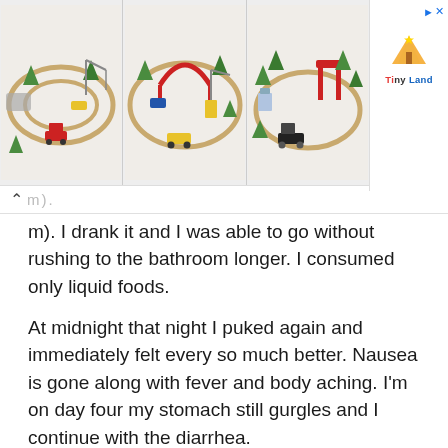[Figure (photo): Advertisement banner showing three images of wooden toy train sets on white background, with Tiny Land logo on the right side and a close/collapse button in the top right corner.]
m). I drank it and I was able to go without rushing to the bathroom longer. I consumed only liquid foods.
At midnight that night I puked again and immediately felt every so much better. Nausea is gone along with fever and body aching. I'm on day four my stomach still gurgles and I continue with the diarrhea.
Doing what I can to stay hydrated and waiting it out. I didn't think of taking Gatorade or acidophilus (and I have both). I think I'm going